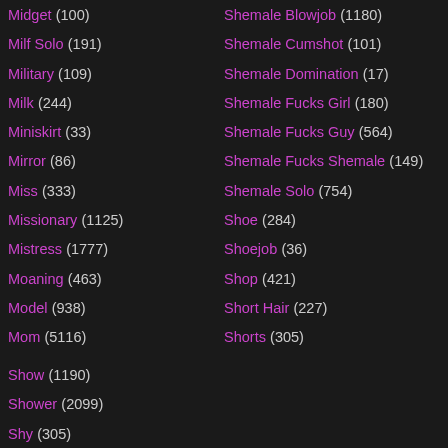Midget (100)
Milf Solo (191)
Military (109)
Milk (244)
Miniskirt (33)
Mirror (86)
Miss (333)
Missionary (1125)
Mistress (1777)
Moaning (463)
Model (938)
Mom (5116)
Show (1190)
Shower (2099)
Shy (305)
Shemale Blowjob (1180)
Shemale Cumshot (101)
Shemale Domination (17)
Shemale Fucks Girl (180)
Shemale Fucks Guy (564)
Shemale Fucks Shemale (149)
Shemale Solo (754)
Shoe (284)
Shoejob (36)
Shop (421)
Short Hair (227)
Shorts (305)